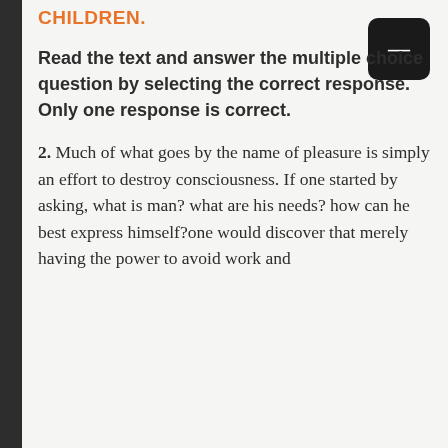CHILDREN.
Read the text and answer the multiple choice question by selecting the correct response. Only one response is correct.
2. Much of what goes by the name of pleasure is simply an effort to destroy consciousness. If one started by asking, what is man? what are his needs? how can he best express himself?one would discover that merely having the power to avoid work and